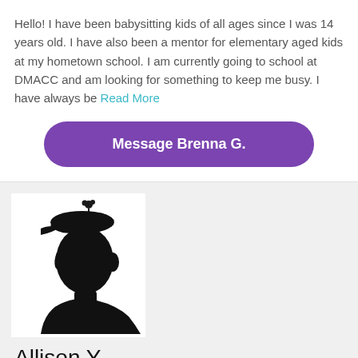Hello! I have been babysitting kids of all ages since I was 14 years old. I have also been a mentor for elementary aged kids at my hometown school. I am currently going to school at DMACC and am looking for something to keep me busy. I have always be Read More
Message Brenna G.
[Figure (illustration): Black silhouette profile of a person wearing a hat with a flower/brooch, facing left, depicted from shoulders up]
Allison Y.